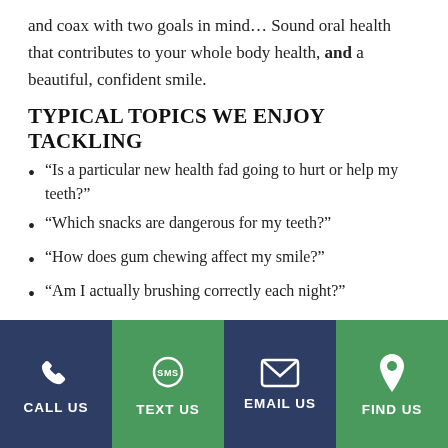and coax with two goals in mind… Sound oral health that contributes to your whole body health, and a beautiful, confident smile.
TYPICAL TOPICS WE ENJOY TACKLING
“Is a particular new health fad going to hurt or help my teeth?”
“Which snacks are dangerous for my teeth?”
“How does gum chewing affect my smile?”
“Am I actually brushing correctly each night?”
CALL US   TEXT US   EMAIL US   FIND US